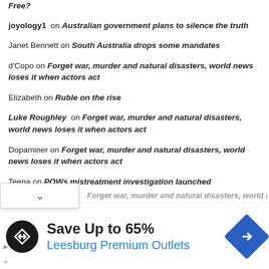Free?
joyology1 on Australian government plans to silence the truth
Janet Bennett on South Australia drops some mandates
d'Copo on Forget war, murder and natural disasters, world news loses it when actors act
Elizabeth on Ruble on the rise
Luke Roughley on Forget war, murder and natural disasters, world news loses it when actors act
Dopaminer on Forget war, murder and natural disasters, world news loses it when actors act
Teena on POWs mistreatment investigation launched
Forget war, murder and natural disasters, world news...
[Figure (infographic): Advertisement banner: black circular logo with arrows icon, text 'Save Up to 65% Leesburg Premium Outlets', blue diamond arrow navigation icon on right]